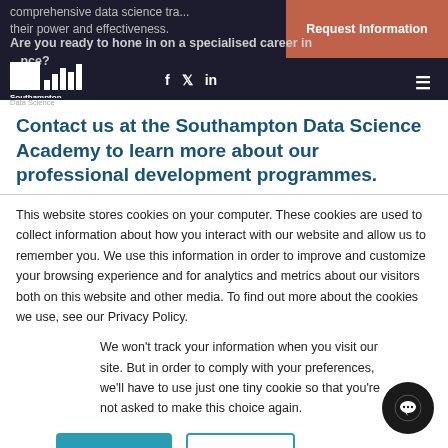comprehensive data science tra... their power and effectiveness.
[Figure (logo): Southampton Data Science Academy logo with vertical bar chart graphic]
Are you ready to hone in on a specialised career in ...nce?
Contact us at the Southampton Data Science Academy to learn more about our professional development programmes.
This website stores cookies on your computer. These cookies are used to collect information about how you interact with our website and allow us to remember you. We use this information in order to improve and customize your browsing experience and for analytics and metrics about our visitors both on this website and other media. To find out more about the cookies we use, see our Privacy Policy.
We won't track your information when you visit our site. But in order to comply with your preferences, we'll have to use just one tiny cookie so that you're not asked to make this choice again.
Accept
Decline